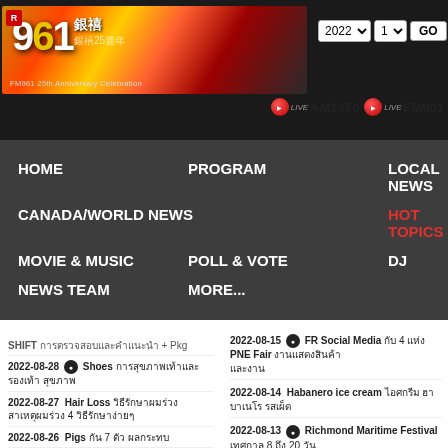[Figure (screenshot): FM961 25th Anniversary radio station banner with colorful gradient background and Chinese/English text, year/month dropdowns showing 2022 and 1, GO button]
[Figure (logo): LIVE AM1470 and LIVE FM961 radio stream buttons with red circular play icons]
HOME
PROGRAM
LOCAL NEWS
CANADA/WORLD NEWS
HOT TOPICS
MOVIE & MUSIC
POLL & VOTE
DJ
NEWS TEAM
MORE...
SHIFT [Chinese text] + Pkg
2022-08-28  Shoes [Chinese text]
2022-08-27  Hair Loss [Chinese text] 4 [Chinese text]
2022-08-26  Pigs [Chinese] 7 [Chinese text]
2022-08-25  [Chinese text] - [Chinese] + Kia Sorento
2022-08-15  FR Social Media [Chinese] 4 [Chinese] PNE Fair [Chinese text]
2022-08-14  Habanero ice cream [Chinese text]
2022-08-13  Richmond Maritime Festival [Chinese] 8 [Chinese] 20 [Chinese]